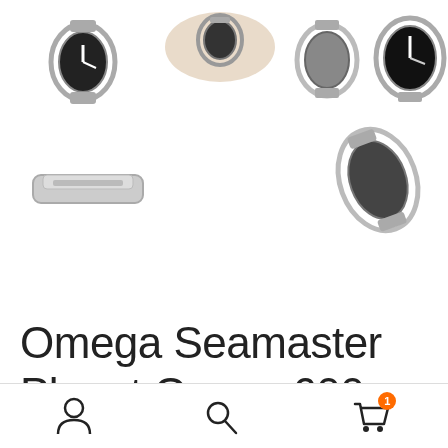[Figure (photo): Grid of 6 watch thumbnail images showing Omega Seamaster Planet Ocean from various angles: front view on stand, worn on wrist, side detail, dial close-up, bracelet detail, and angled side view. Images are in grayscale/muted tones.]
Omega Seamaster Planet Ocean 600m Co-Axial Master Chronometer 43.5mm
[Figure (infographic): Mobile app bottom navigation bar with three icons: user/account icon, search/magnifying glass icon, and shopping cart icon with orange badge showing count 1.]